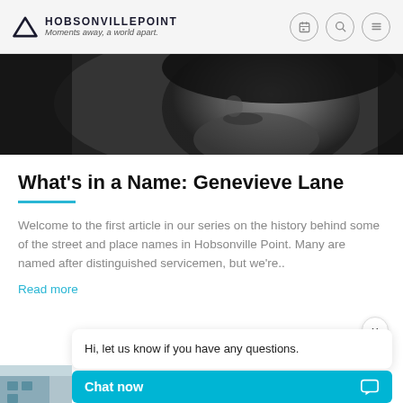HobsonvillePoint — Moments away, a world apart.
[Figure (photo): Black and white close-up portrait photo of a person (face partially visible), used as a hero banner image]
What's in a Name: Genevieve Lane
Welcome to the first article in our series on the history behind some of the street and place names in Hobsonville Point. Many are named after distinguished servicemen, but we're..
Read more
Hi, let us know if you have any questions.
Chat now
[Figure (photo): Partial view of a modern building with blue/grey facade, bottom left corner of the page]